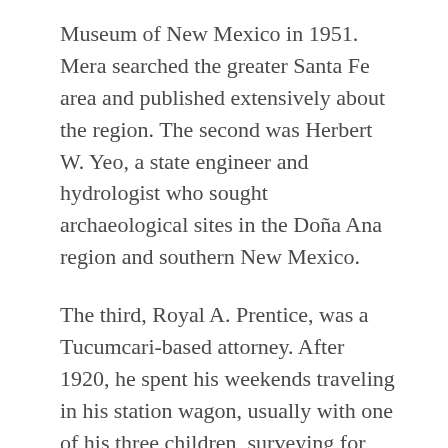Museum of New Mexico in 1951. Mera searched the greater Santa Fe area and published extensively about the region. The second was Herbert W. Yeo, a state engineer and hydrologist who sought archaeological sites in the Doña Ana region and southern New Mexico.
The third, Royal A. Prentice, was a Tucumcari-based attorney. After 1920, he spent his weekends traveling in his station wagon, usually with one of his three children, surveying for archaeological sites, especially rock art, from West Texas to the Rio Grande. His articles about archaeology in the eastern part of New Mexico were published in several amateur publications. All three avocational archaeologists